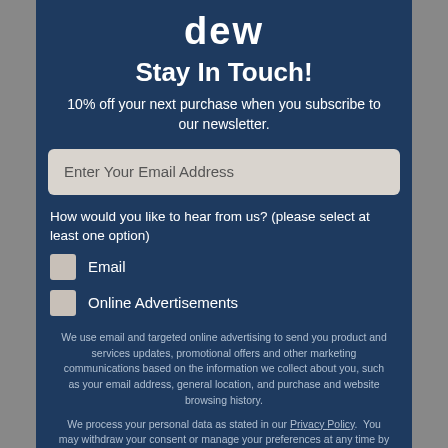dew
Stay In Touch!
10% off your next purchase when you subscribe to our newsletter.
Enter Your Email Address
How would you like to hear from us? (please select at least one option)
Email
Online Advertisements
We use email and targeted online advertising to send you product and services updates, promotional offers and other marketing communications based on the information we collect about you, such as your email address, general location, and purchase and website browsing history.
We process your personal data as stated in our Privacy Policy.  You may withdraw your consent or manage your preferences at any time by clicking